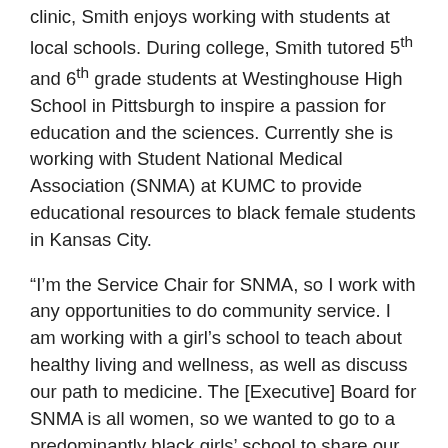clinic, Smith enjoys working with students at local schools. During college, Smith tutored 5th and 6th grade students at Westinghouse High School in Pittsburgh to inspire a passion for education and the sciences. Currently she is working with Student National Medical Association (SNMA) at KUMC to provide educational resources to black female students in Kansas City.
“I’m the Service Chair for SNMA, so I work with any opportunities to do community service. I am working with a girl’s school to teach about healthy living and wellness, as well as discuss our path to medicine. The [Executive] Board for SNMA is all women, so we wanted to go to a predominantly black girls’ school to share our path to medicine,” Smith said.
Between serving as a leader in the JayDoc clinic and working with students throughout her college and medical school career, Smith has discovered a connection to teaching that she hopes to pursue as a future doctor.